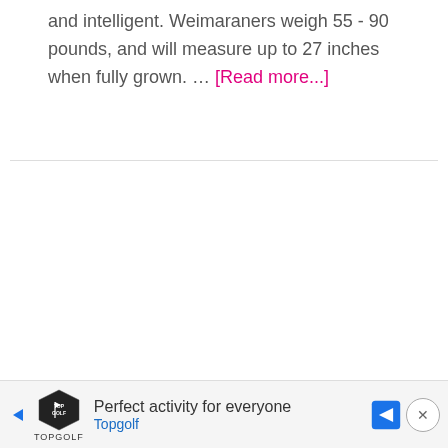and intelligent. Weimaraners weigh 55 - 90 pounds, and will measure up to 27 inches when fully grown. … [Read more...]
[Figure (other): Advertisement banner for Topgolf: 'Perfect activity for everyone' with Topgolf logo and navigation arrow icon]